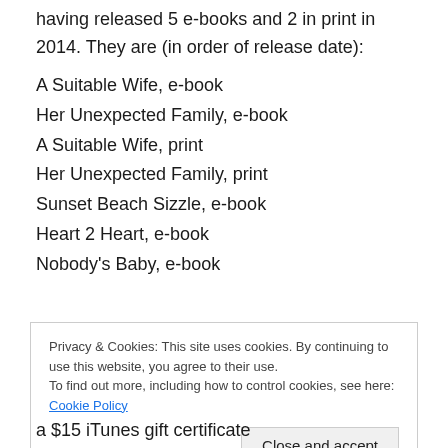having released 5 e-books and 2 in print in 2014. They are (in order of release date):
A Suitable Wife, e-book
Her Unexpected Family, e-book
A Suitable Wife, print
Her Unexpected Family, print
Sunset Beach Sizzle, e-book
Heart 2 Heart, e-book
Nobody's Baby, e-book
Privacy & Cookies: This site uses cookies. By continuing to use this website, you agree to their use.
To find out more, including how to control cookies, see here: Cookie Policy
Close and accept
a $15 iTunes gift certificate